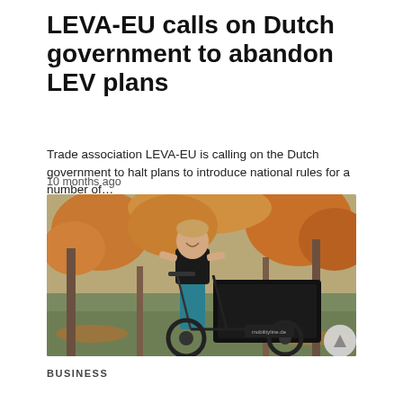LEVA-EU calls on Dutch government to abandon LEV plans
Trade association LEVA-EU is calling on the Dutch government to halt plans to introduce national rules for a number of…
10 months ago
[Figure (photo): A man smiling and riding a black cargo bicycle in an outdoor park setting with autumn-colored trees in the background.]
BUSINESS